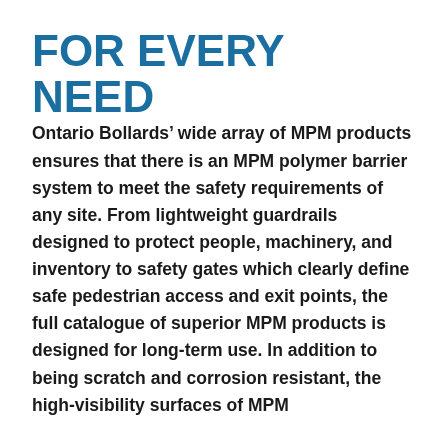FOR EVERY NEED
Ontario Bollards’ wide array of MPM products ensures that there is an MPM polymer barrier system to meet the safety requirements of any site. From lightweight guardrails designed to protect people, machinery, and inventory to safety gates which clearly define safe pedestrian access and exit points, the full catalogue of superior MPM products is designed for long-term use. In addition to being scratch and corrosion resistant, the high-visibility surfaces of MPM